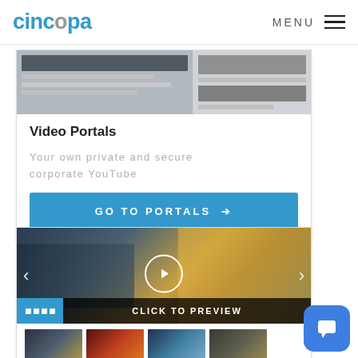[Figure (screenshot): Cincopa website header with logo and menu]
[Figure (screenshot): Video Portals card with screenshot preview image]
Video Portals
Your own private and secure corporate YouTube
GO TO PORTALS →
[Figure (screenshot): Video player card with city street scene, play button, navigation arrows, CLICK TO PREVIEW label, and thumbnail strip]
[Figure (illustration): Blue chat/messaging button in bottom right corner]